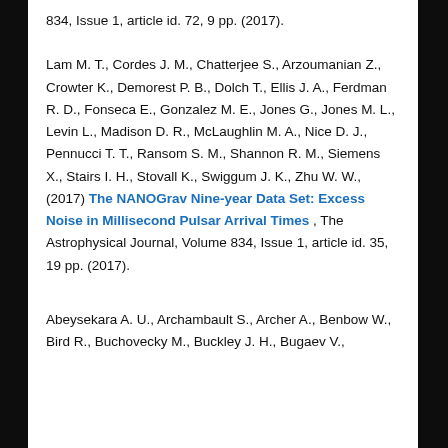834, Issue 1, article id. 72, 9 pp. (2017).
Lam M. T., Cordes J. M., Chatterjee S., Arzoumanian Z., Crowter K., Demorest P. B., Dolch T., Ellis J. A., Ferdman R. D., Fonseca E., Gonzalez M. E., Jones G., Jones M. L., Levin L., Madison D. R., McLaughlin M. A., Nice D. J., Pennucci T. T., Ransom S. M., Shannon R. M., Siemens X., Stairs I. H., Stovall K., Swiggum J. K., Zhu W. W., (2017) The NANOGrav Nine-year Data Set: Excess Noise in Millisecond Pulsar Arrival Times , The Astrophysical Journal, Volume 834, Issue 1, article id. 35, 19 pp. (2017).
Abeysekara A. U., Archambault S., Archer A., Benbow W., Bird R., Buchovecky M., Buckley J. H., Bugaev V.,